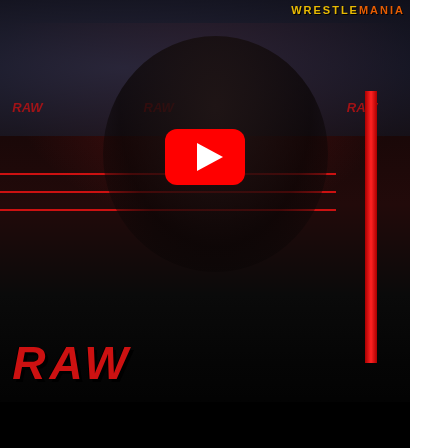[Figure (screenshot): WWE RAW video thumbnail showing wrestlers in a wrestling ring with red ropes and crowd in background. A YouTube play button (red rounded rectangle with white triangle) overlays the center. RAW logo in red italic text bottom left. WrestleMania branding top right. Video player interface.]
[Figure (screenshot): YouTube 'Up Next' autoplay panel overlay. Shows 'Up Next - WWE posts BIG Q2 financials ...' header with X close button. 'Ad 1 of 1 (0:30)' label and 'PWTORCH' branding. Video preview showing a man in a baseball cap with yellow mute button overlay and X dismiss button.]
McIntyre would emerge... Roman Reigns repeated... a kick to the head, and e... brutal; a...
[Figure (screenshot): Disney Bundle advertisement banner showing Hulu, Disney+, and ESPN+ logos with 'GET THE DISNEY BUNDLE' call to action. Fine print: 'Incl. Hulu (ad-supported) or Hulu (No Ads). Access content from each service separately. ©2021 Disney and its related entities']
Seeking vengeance after a stunned Roman Reigns was taken to the ba...